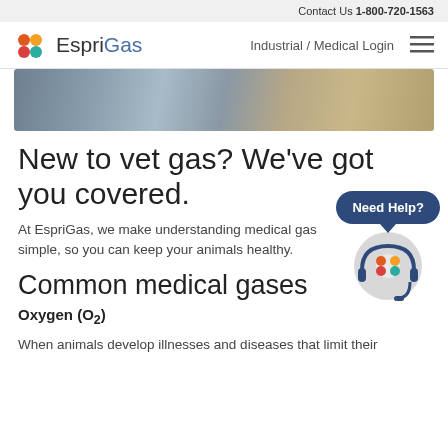Contact Us 1-800-720-1563
[Figure (logo): EspriGas logo with colored dots and text]
Industrial / Medical Login
[Figure (photo): Hero image showing people, partially cropped]
New to vet gas? We've got you covered.
At EspriGas, we make understanding medical gas simple, so you can keep your animals healthy.
Common medical gases
Oxygen (O2)
When animals develop illnesses and diseases that limit their
[Figure (illustration): Need Help? chat bubble with EspriGas logo icon and headset]